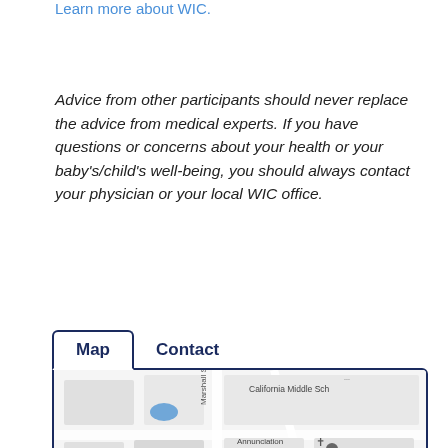Learn more about WIC.
Advice from other participants should never replace the advice from medical experts. If you have questions or concerns about your health or your baby's/child's well-being, you should always contact your physician or your local WIC office.
[Figure (screenshot): Map and Contact tab panel showing a Google Maps view with Marshall St, California Middle School, Annunciation Catholic Church, and Rogerstree service visible.]